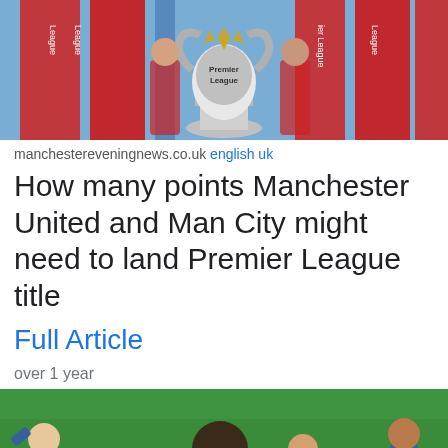[Figure (photo): Premier League trophy being held up, red Premier League branded backdrops in background]
manchestereveningnews.co.uk english uk
How many points Manchester United and Man City might need to land Premier League title
Full Article
over 1 year
[Figure (photo): Leicester City footballers in blue kits celebrating on a green football pitch, one player bowing head]